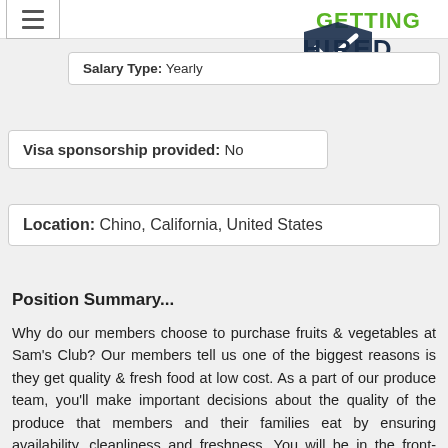[Figure (logo): Getting Hired logo - green text 'GETTING' above dark blue 'HIRED' with checkmark, subtitle 'An Allegis Group Company']
Salary Type: Yearly
Visa sponsorship provided: No
Location: Chino, California, United States
Position Summary...
Why do our members choose to purchase fruits & vegetables at Sam's Club? Our members tell us one of the biggest reasons is they get quality & fresh food at low cost. As a part of our produce team, you'll make important decisions about the quality of the produce that members and their families eat by ensuring availability, cleanliness and freshness. You will be in the front-lines of customer service – your smile makes a difference and you can help enhance the member's shopping experience. Come, be a part of a team that offers our members more for less.